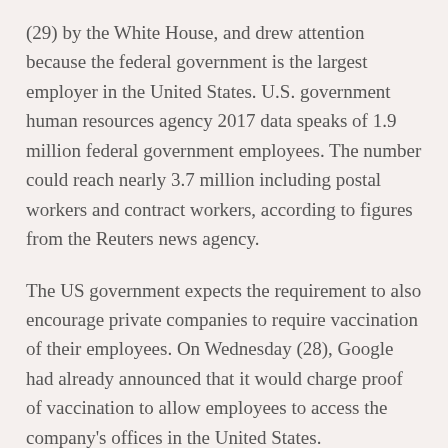(29) by the White House, and drew attention because the federal government is the largest employer in the United States. U.S. government human resources agency 2017 data speaks of 1.9 million federal government employees. The number could reach nearly 3.7 million including postal workers and contract workers, according to figures from the Reuters news agency.
The US government expects the requirement to also encourage private companies to require vaccination of their employees. On Wednesday (28), Google had already announced that it would charge proof of vaccination to allow employees to access the company's offices in the United States.
The US government also wants to pay $ 100 for the [redacted]